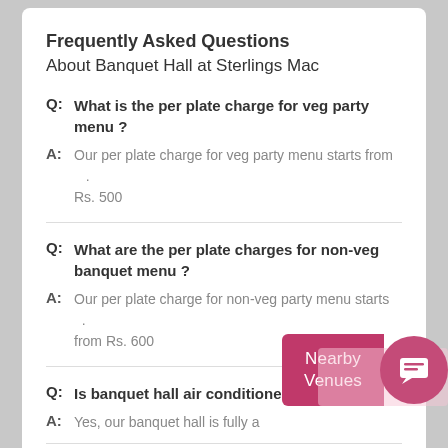Frequently Asked Questions
About Banquet Hall at Sterlings Mac
Q: What is the per plate charge for veg party menu ?
A: Our per plate charge for veg party menu starts from Rs. 500
Q: What are the per plate charges for non-veg banquet menu ?
A: Our per plate charge for non-veg party menu starts from Rs. 600
Q: Is banquet hall air conditioned ?
A: Yes, our banquet hall is fully air conditioned.
Q: What kind of seating arrangements do you provide ?
A: We provide theater style seating, round table seating